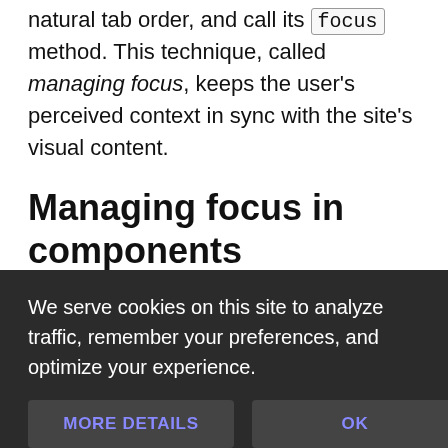natural tab order, and call its focus method. This technique, called managing focus, keeps the user's perceived context in sync with the site's visual content.
Managing focus in components
Managing focus when you change something on the page is important, but sometimes you
We serve cookies on this site to analyze traffic, remember your preferences, and optimize your experience.
MORE DETAILS
OK